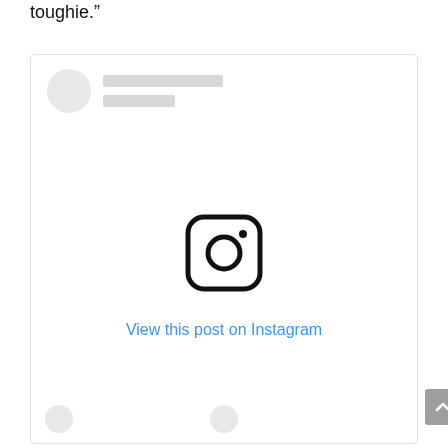toughie.”
[Figure (screenshot): An embedded Instagram post placeholder showing a user avatar placeholder, two gray skeleton lines for username, the Instagram camera logo icon in the center, and a blue 'View this post on Instagram' link. A gray scroll-to-top button is visible at the bottom right. Two small gray circles appear at the bottom left as placeholder elements.]